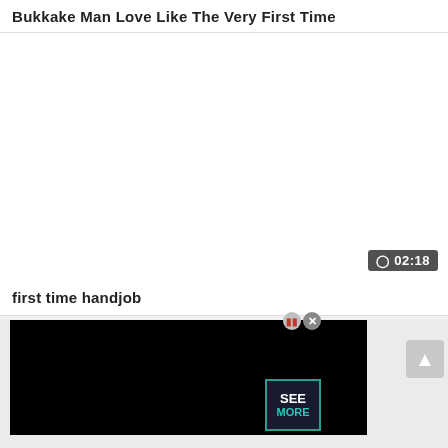Bukkake Man Love Like The Very First Time
[Figure (screenshot): White blank video thumbnail area with a dark time badge showing clock icon and 02:18 in bottom right corner]
first time handjob
[Figure (screenshot): Black video mini-player with close/pause controls, SEE MORE badge overlay, and a scroll-up arrow button on the right]